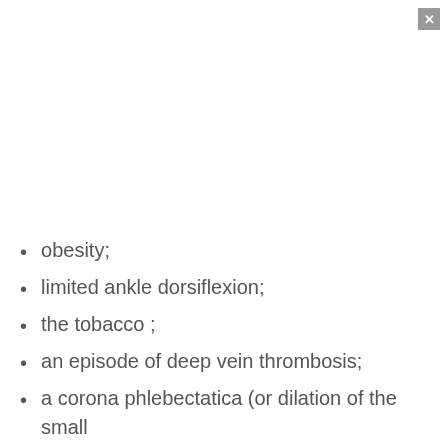obesity;
limited ankle dorsiflexion;
the tobacco ;
an episode of deep vein thrombosis;
a corona phlebectatica (or dilation of the small